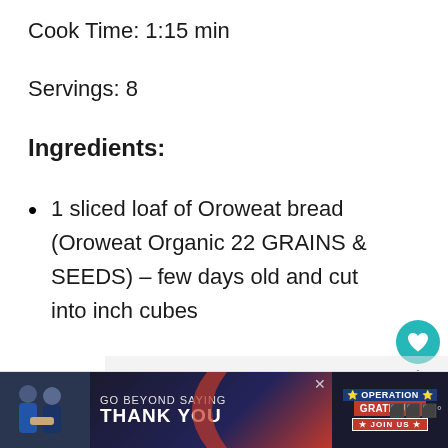Cook Time: 1:15 min
Servings: 8
Ingredients:
1 sliced loaf of Oroweat bread (Oroweat Organic 22 GRAINS & SEEDS) – few days old and cut into inch cubes
[Figure (screenshot): Advertisement banner: GO BEYOND SAYING THANK YOU – Operation Gratitude JOIN US, with photo of people shaking hands]
[Figure (infographic): Floating UI buttons: teal heart button with count 1, and share button]